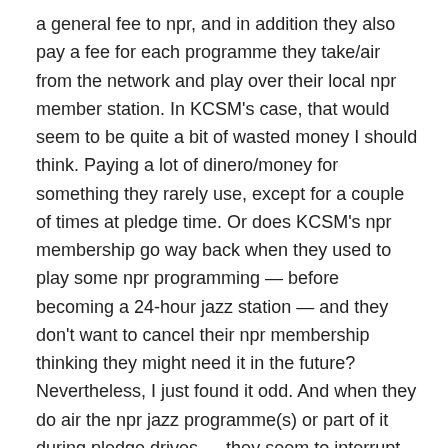a general fee to npr, and in addition they also pay a fee for each programme they take/air from the network and play over their local npr member station. In KCSM's case, that would seem to be quite a bit of wasted money I should think. Paying a lot of dinero/money for something they rarely use, except for a couple of times at pledge time. Or does KCSM's npr membership go way back when they used to play some npr programming — before becoming a 24-hour jazz station — and they don't want to cancel their npr membership thinking they might need it in the future? Nevertheless, I just found it odd. And when they do air the npr jazz programme(s) or part of it during pledge drives — they seem to interrupt the npr programme they're airing to encourage listeners to call — they don't allow the required npr funding credits to play at all or in their entirety from what I've